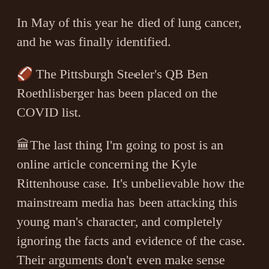In May of this year he died of lung cancer, and he was finally identified.
🏈 The Pittsburgh Steeler's QB Ben Roethlisberger has been placed on the COVID list.
🏛The last thing I'm going to post is an online article concerning the Kyle Rittenhouse case. It's unbelievable how the mainstream media has been attacking this young man's character, and completely ignoring the facts and evidence of the case. Their arguments don't even make sense anymore and are way off, but it gets even worse, as somehow, the left has managed to turn a case involving only white people into a